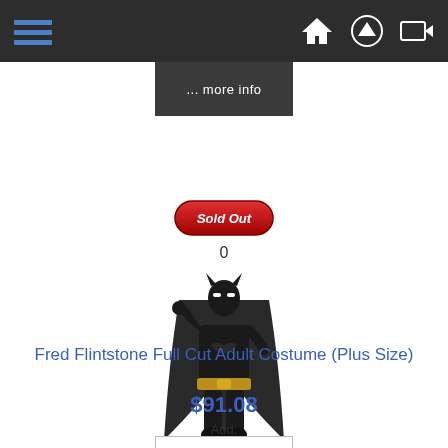[Figure (screenshot): Top navigation bar with hamburger menu (blue lines) on left, and home, upload, and login icons on right, dark background]
[Figure (screenshot): Dark grey 'more info' button/banner]
[Figure (illustration): Red pill-shaped 'Sold Out' badge with white italic text]
0
[Figure (photo): Batman costume worn by a figure, dark suit with gold belt and cape, raised fist pose]
RC17468
Fred Flintstone Full Cut Adult Costume (Plus Size)
$91.08
Add: